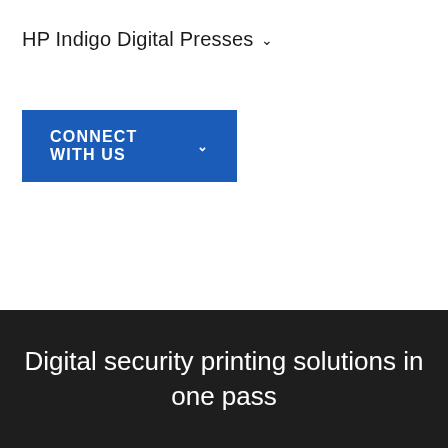HP Indigo Digital Presses ˅
CONNECT WITH US ˅
Digital security printing solutions in one pass